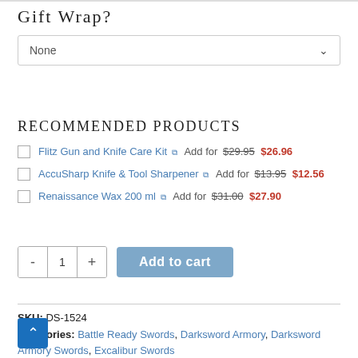Gift Wrap?
None (dropdown)
Recommended Products
Flitz Gun and Knife Care Kit  Add for $29.95 $26.96
AccuSharp Knife & Tool Sharpener  Add for $13.95 $12.56
Renaissance Wax 200 ml  Add for $31.00 $27.90
- 1 + Add to cart
SKU: DS-1524
Categories: Battle Ready Swords, Darksword Armory, Darksword Armory Swords, Excalibur Swords